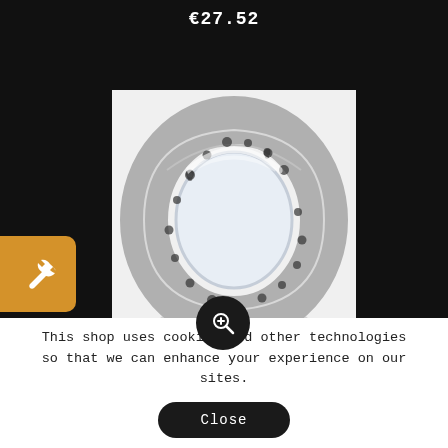€27.52
[Figure (photo): Silver ring with skull engravings displayed on white background with zoom icon overlay]
This shop uses cookies and other technologies so that we can enhance your experience on our sites.
Close